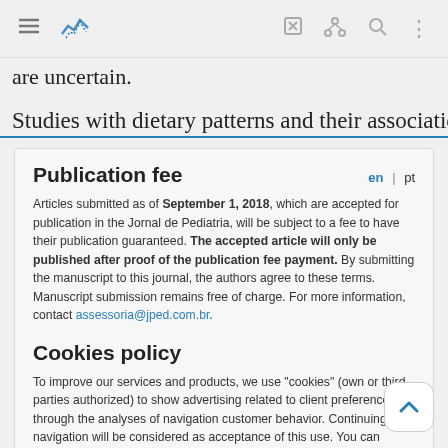Navigation bar with menu, logo, edit, share, search, and more icons
are uncertain.
Studies with dietary patterns and their associations
Publication fee
en | pt
Articles submitted as of September 1, 2018, which are accepted for publication in the Jornal de Pediatria, will be subject to a fee to have their publication guaranteed. The accepted article will only be published after proof of the publication fee payment. By submitting the manuscript to this journal, the authors agree to these terms. Manuscript submission remains free of charge. For more information, contact assessoria@jped.com.br.
Cookies policy
To improve our services and products, we use "cookies" (own or third parties authorized) to show advertising related to client preferences through the analyses of navigation customer behavior. Continuing navigation will be considered as acceptance of this use. You can change the settings or obtain more information by clicking here.